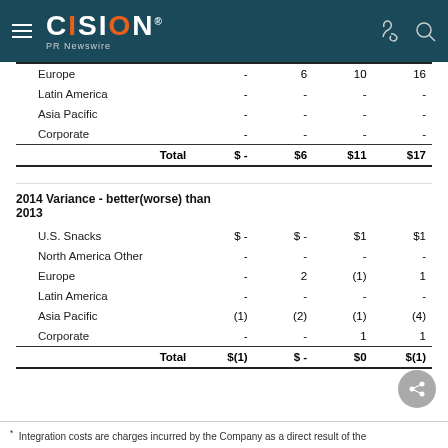CISION PR Newswire
|  |  |  |  |  |
| --- | --- | --- | --- | --- |
| Europe | - | 6 | 10 | 16 |
| Latin America | - | - | - | - |
| Asia Pacific | - | - | - | - |
| Corporate | - | - | - | - |
| Total | $ - | $6 | $11 | $17 |
2014 Variance - better(worse) than 2013
|  |  |  |  |  |
| --- | --- | --- | --- | --- |
| U.S. Snacks | $ - | $ - | $1 | $1 |
| North America Other | - | - | - | - |
| Europe | - | 2 | (1) | 1 |
| Latin America | - | - | - | - |
| Asia Pacific | (1) | (2) | (1) | (4) |
| Corporate | - | - | 1 | 1 |
| Total | $(1) | $ - | $0 | $(1) |
* Integration costs are charges incurred by the Company as a direct result of the